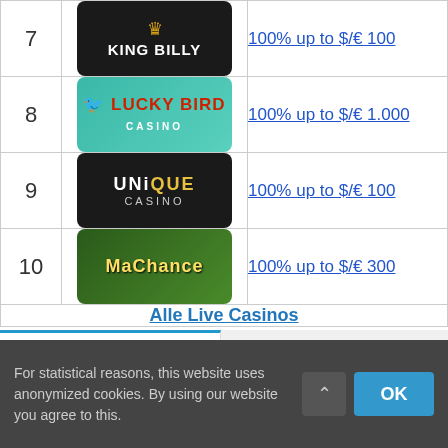| # | Casino | Bonus |
| --- | --- | --- |
| 7 | King Billy | 100% up to $/€ 100 |
| 8 | Lucky Bird Casino | 100% up to $/€ 1.000 |
| 9 | Unique Casino | 100% up to $/€ 100 |
| 10 | MaChance | 100% up to $/€ 300 |
|  | Alle Live Casinos |  |
Popular
Recent
For statistical reasons, this website uses anonymized cookies. By using our website you agree to this.